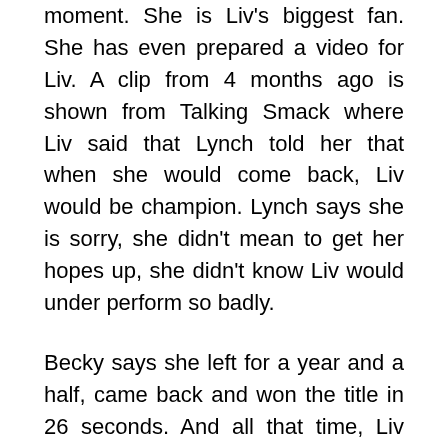moment. She is Liv's biggest fan. She has even prepared a video for Liv. A clip from 4 months ago is shown from Talking Smack where Liv said that Lynch told her that when she would come back, Liv would be champion. Lynch says she is sorry, she didn't mean to get her hopes up, she didn't know Liv would under perform so badly.

Becky says she left for a year and a half, came back and won the title in 26 seconds. And all that time, Liv has done nothing. The point was for Liv to get the title while she was gone because now that she is back, Liv isn't getting the title. Liv says on behalf of the entire WWE Universe, she thinks they can all agree that big time Becks is really just a big